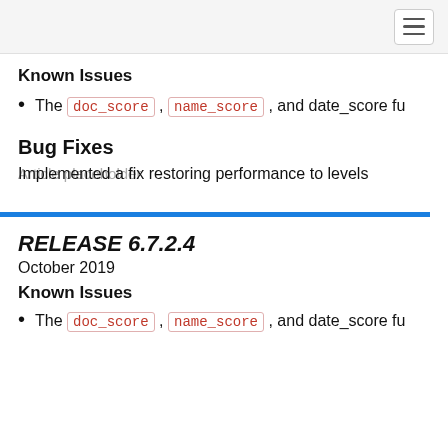Known Issues
The doc_score , name_score , and date_score fu
Bug Fixes
Implemented a fix restoring performance to levels
RELEASE 6.7.2.4
October 2019
Known Issues
The doc_score , name_score , and date_score fu